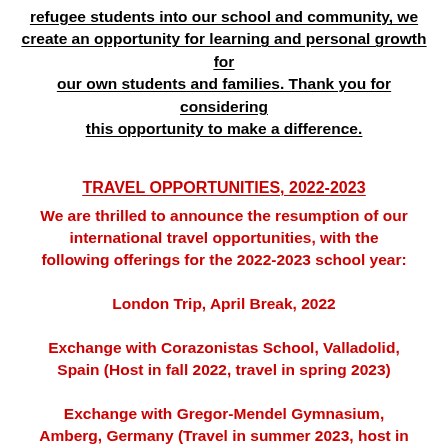refugee students into our school and community, we create an opportunity for learning and personal growth for our own students and families. Thank you for considering this opportunity to make a difference.
TRAVEL OPPORTUNITIES, 2022-2023
We are thrilled to announce the resumption of our international travel opportunities, with the following offerings for the 2022-2023 school year:
London Trip, April Break, 2022
Exchange with Corazonistas School, Valladolid, Spain (Host in fall 2022, travel in spring 2023)
Exchange with Gregor-Mendel Gymnasium, Amberg, Germany (Travel in summer 2023, host in